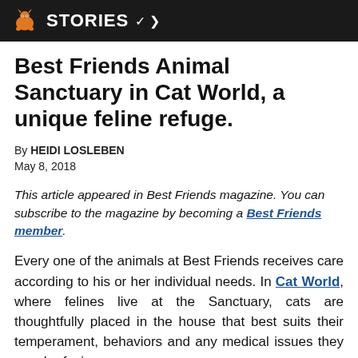STORIES
Best Friends Animal Sanctuary in Cat World, a unique feline refuge.
By HEIDI LOSLEBEN
May 8, 2018
This article appeared in Best Friends magazine. You can subscribe to the magazine by becoming a Best Friends member.
Every one of the animals at Best Friends receives care according to his or her individual needs. In Cat World, where felines live at the Sanctuary, cats are thoughtfully placed in the house that best suits their temperament, behaviors and any medical issues they may be facing.